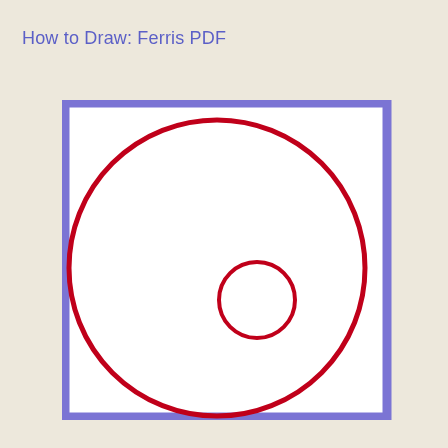How to Draw: Ferris PDF
[Figure (illustration): A large red circle centered slightly left within a purple-bordered white square, with a smaller red circle near the center of the large circle. The purple square has a thick border and white fill. The large red circle nearly fills the square. A small red circle is positioned slightly right and above center of the large circle.]